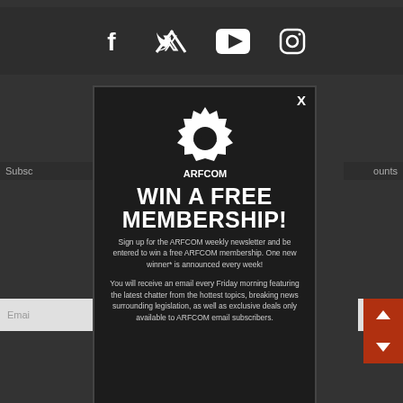[Figure (screenshot): Social media icons row: Facebook, Twitter, YouTube, Instagram]
[Figure (screenshot): ARFCOM modal popup with logo, WIN A FREE MEMBERSHIP headline, descriptive text about newsletter signup]
WIN A FREE MEMBERSHIP!
Sign up for the ARFCOM weekly newsletter and be entered to win a free ARFCOM membership. One new winner* is announced every week!
You will receive an email every Friday morning featuring the latest chatter from the hottest topics, breaking news surrounding legislation, as well as exclusive deals only available to ARFCOM email subscribers.